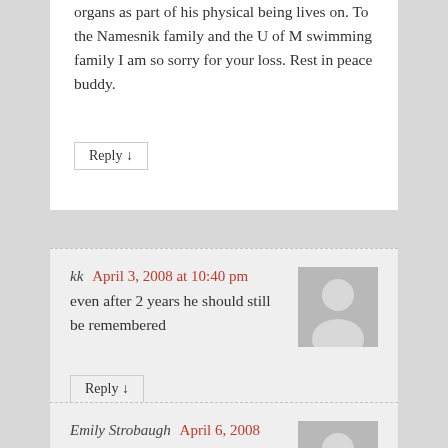organs as part of his physical being lives on. To the Namesnik family and the U of M swimming family I am so sorry for your loss. Rest in peace buddy.
Reply ↓
kk April 3, 2008 at 10:40 pm
even after 2 years he should still be remembered
Reply ↓
Emily Strobaugh April 6, 2008